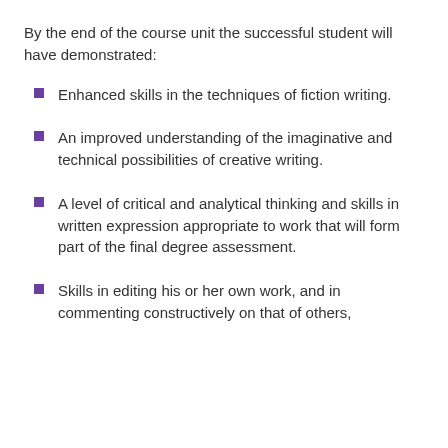By the end of the course unit the successful student will have demonstrated:
Enhanced skills in the techniques of fiction writing.
An improved understanding of the imaginative and technical possibilities of creative writing.
A level of critical and analytical thinking and skills in written expression appropriate to work that will form part of the final degree assessment.
Skills in editing his or her own work, and in commenting constructively on that of others,